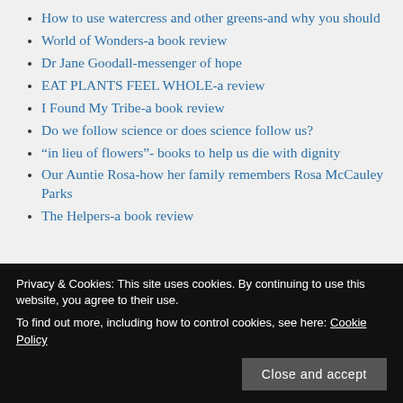How to use watercress and other greens-and why you should
World of Wonders-a book review
Dr Jane Goodall-messenger of hope
EAT PLANTS FEEL WHOLE-a review
I Found My Tribe-a book review
Do we follow science or does science follow us?
“in lieu of flowers”- books to help us die with dignity
Our Auntie Rosa-how her family remembers Rosa McCauley Parks
The Helpers-a book review
Privacy & Cookies: This site uses cookies. By continuing to use this website, you agree to their use. To find out more, including how to control cookies, see here: Cookie Policy
allergy